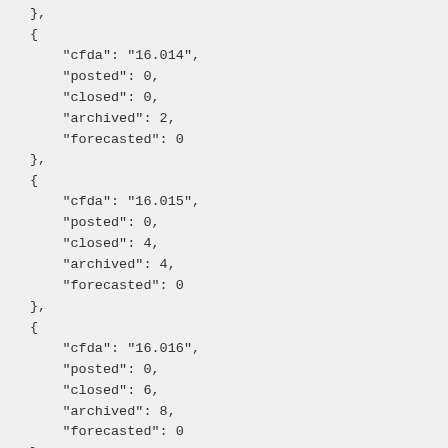},
{
    "cfda": "16.014",
    "posted": 0,
    "closed": 0,
    "archived": 2,
    "forecasted": 0
},
{
    "cfda": "16.015",
    "posted": 0,
    "closed": 4,
    "archived": 4,
    "forecasted": 0
},
{
    "cfda": "16.016",
    "posted": 0,
    "closed": 6,
    "archived": 8,
    "forecasted": 0
},
{
    "cfda": "16.017",
    "posted": 0,
    "closed": 2,
    "archived": 13,